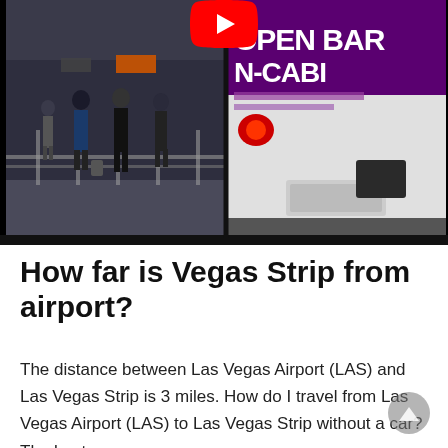[Figure (screenshot): YouTube video thumbnail split into two panels: left panel shows an airport terminal interior with people walking and a railing; right panel shows the back of a white shuttle van with purple signage reading 'OPEN BAR IN-CABIN'. A YouTube play button is visible at the top center.]
How far is Vegas Strip from airport?
The distance between Las Vegas Airport (LAS) and Las Vegas Strip is 3 miles. How do I travel from Las Vegas Airport (LAS) to Las Vegas Strip without a car? The best